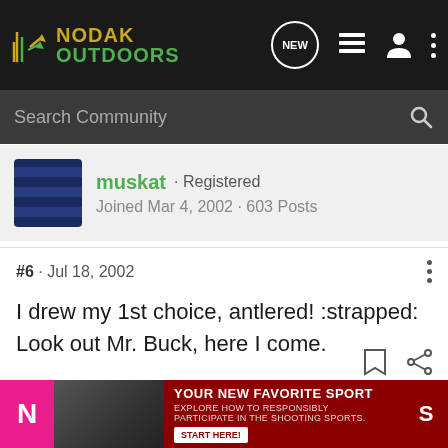[Figure (logo): Nodak Outdoors logo with navigation icons on dark background]
Search Community
muskat · Registered
Joined Mar 4, 2002 · 603 Posts
#6 · Jul 18, 2002
I drew my 1st choice, antlered! :strapped: Look out Mr. Buck, here I come.
[Figure (screenshot): Advertisement banner: YOUR NEW FAVORITE SPORT - Explore how to responsibly participate in the shooting sports. START HERE!]